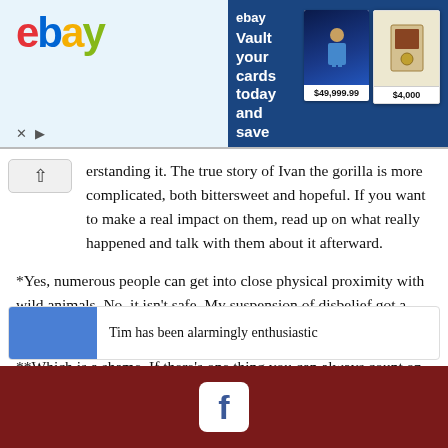[Figure (screenshot): eBay advertisement banner: 'Vault your cards today and save. No sales tax on transactions within the vault in Delaware.' with card images priced at $49,999.99 and $4,000]
erstanding it. The true story of Ivan the gorilla is more complicated, both bittersweet and hopeful. If you want to make a real impact on them, read up on what really happened and talk with them about it afterward.
*Yes, numerous people can get into close physical proximity with wild animals. No, it isn't safe. My suspension of disbelief got a workout on that one.
**Which is a shame. If there's one thing you can always count on, it's that adults will constantly underestimate what kids can handle.
Tim has been alarmingly enthusiastic
Facebook icon footer